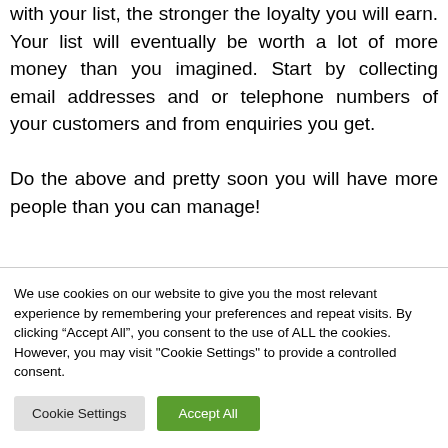with your list, the stronger the loyalty you will earn. Your list will eventually be worth a lot of more money than you imagined. Start by collecting email addresses and or telephone numbers of your customers and from enquiries you get.

Do the above and pretty soon you will have more people than you can manage!
We use cookies on our website to give you the most relevant experience by remembering your preferences and repeat visits. By clicking “Accept All”, you consent to the use of ALL the cookies. However, you may visit "Cookie Settings" to provide a controlled consent.
Cookie Settings   Accept All